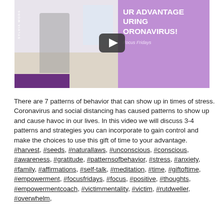[Figure (screenshot): Video thumbnail showing a woman walking in a white interior space on the left half (light beige/lavender), and on the right half a purple background with white bold text reading 'UR ADVANTAGE URING ORONAVIRUS!' and italic text 'Focus Fridays'. A YouTube-style play button is overlaid in the center. A dark purple bar sits at the bottom left. 'SYLVIA WORS' text appears rotated vertically on the left edge.]
There are 7 patterns of behavior that can show up in times of stress. Coronavirus and social distancing has caused patterns to show up and cause havoc in our lives. In this video we will discuss 3-4 patterns and strategies you can incorporate to gain control and make the choices to use this gift of time to your advantage. #harvest, #seeds, #naturallaws, #unconscious, #conscious, #awareness, #gratitude, #patternsofbehavior, #stress, #anxiety, #family, #affirmations, #self-talk, #meditation, #time, #giftoftime, #empowerment, #focusfridays, #focus, #positive, #thoughts, #empowermentcoach, #victimmentality, #victim, #rutdweller, #overwhelm,